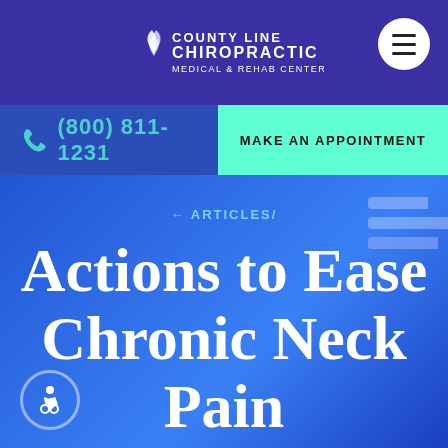County Line Chiropractic Medical & Rehab Centers
(800) 811-1231
MAKE AN APPOINTMENT
← ARTICLES/
Actions to Ease Chronic Neck Pain